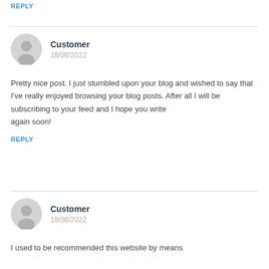REPLY
Customer
18/08/2022
Pretty nice post. I just stumbled upon your blog and wished to say that I've really enjoyed browsing your blog posts. After all I will be subscribing to your feed and I hope you write
again soon!
REPLY
Customer
18/08/2022
I used to be recommended this website by means